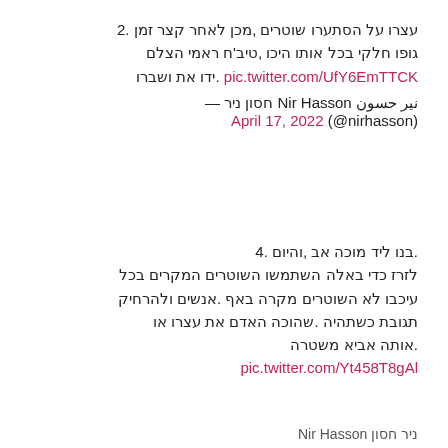.2 זמן קצר לאחר מכן, שוטרים הסתערו על הצלם ראמי ח'טיב, היכו אותו בכל חלקי גופו ושברו את ידו. pic.twitter.com/UfY6EmTTCK
ניר חסון Nir Hasson نير حسون — (@nirhasson) April 17, 2022
.4 והיום, אב מוכה ליד בנו. בכל המקרים השוטרים השתמשו באלה כדי לזרז ולהרחיק אנשים. באף מקרה השוטרים לא עיכבו או עצרו את האדם שהוכה. כשתהיה תגובת משטרה אביא אותה. pic.twitter.com/Yt458T8gAl
ניר חסון Nir Hasson